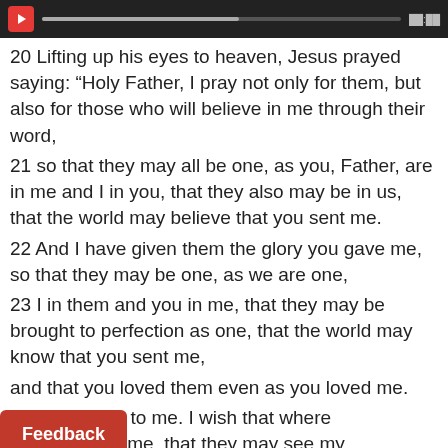[Figure (screenshot): Dark media player bar with red play button, grey progress bar, and time display]
20 Lifting up his eyes to heaven, Jesus prayed saying: “Holy Father, I pray not only for them, but also for those who will believe in me through their word,
21 so that they may all be one, as you, Father, are in me and I in you, that they also may be in us, that the world may believe that you sent me.
22 And I have given them the glory you gave me, so that they may be one, as we are one,
23 I in them and you in me, that they may be brought to perfection as one, that the world may know that you sent me,
and that you loved them even as you loved me.
y are your gift to me. I wish that where
may be with me, that they may see my
glory that you gave me, because you loved me
[Figure (screenshot): Red Feedback button overlay in bottom left]